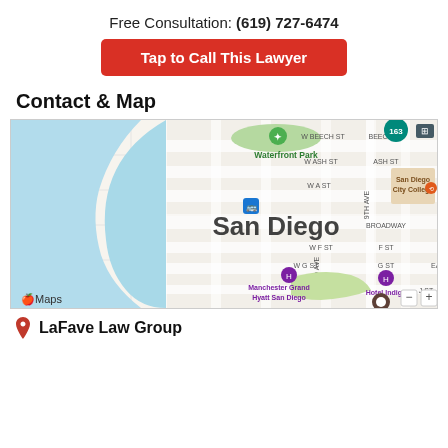Free Consultation: (619) 727-6474
Tap to Call This Lawyer
Contact & Map
[Figure (map): Apple Maps showing downtown San Diego area with streets including W Beech St, Beech St, W Ash St, Ash St, W A St, Broadway, W F St, F St, W G St, G St, East Village, locations including Waterfront Park, San Diego City College, Manchester Grand Hyatt San Diego, Hotel Indigo, and a transit stop marker.]
LaFave Law Group